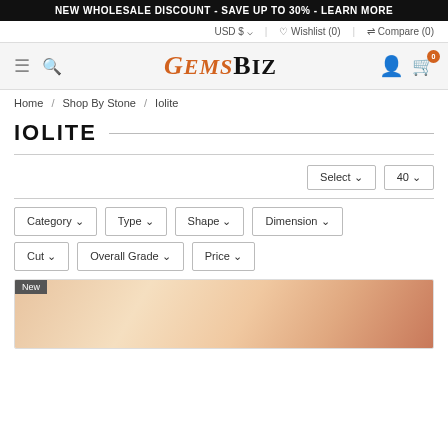NEW WHOLESALE DISCOUNT - SAVE UP TO 30% - LEARN MORE
USD $ ∨   ♡ Wishlist (0)   ⇄ Compare (0)
[Figure (logo): GemsBiz logo with orange italic Gems and bold black Biz]
Home / Shop By Stone / Iolite
IOLITE
Select ∨   40 ∨
Category ∨   Type ∨   Shape ∨   Dimension ∨
Cut ∨   Overall Grade ∨   Price ∨
[Figure (photo): Product thumbnail showing a gemstone held between fingers, labeled New]